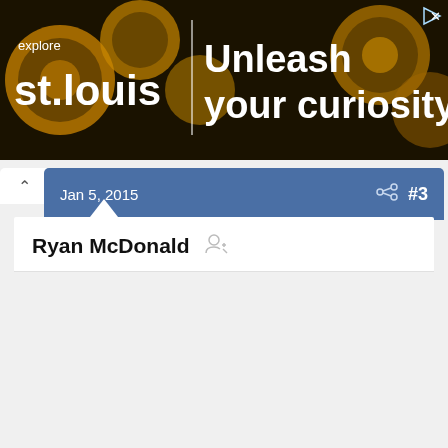[Figure (other): Banner advertisement for Explore St. Louis. Gold gear/cog background with text: 'explore st.louis | Unleash your curiosity'. Play and X icons in top right corner.]
Jan 5, 2015   #3
Ryan McDonald